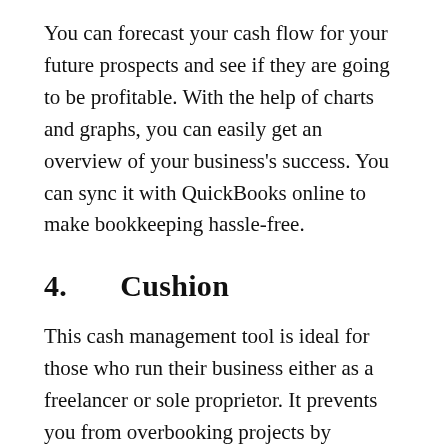You can forecast your cash flow for your future prospects and see if they are going to be profitable. With the help of charts and graphs, you can easily get an overview of your business's success. You can sync it with QuickBooks online to make bookkeeping hassle-free.
4.    Cushion
This cash management tool is ideal for those who run their business either as a freelancer or sole proprietor. It prevents you from overbooking projects by displaying a summary of the entire year. This also helps you to keep track of multiple projects at a time and never